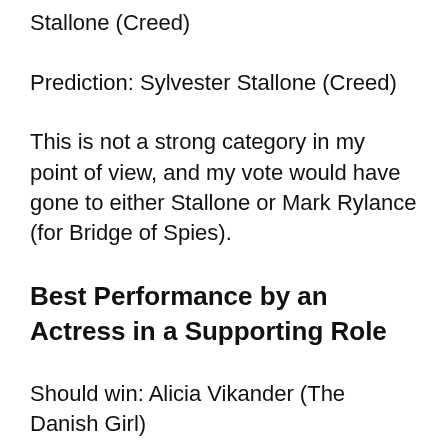Stallone (Creed)
Prediction: Sylvester Stallone (Creed)
This is not a strong category in my point of view, and my vote would have gone to either Stallone or Mark Rylance (for Bridge of Spies).
Best Performance by an Actress in a Supporting Role
Should win: Alicia Vikander (The Danish Girl)